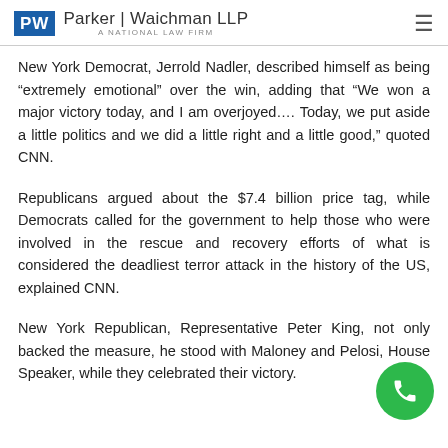Parker | Waichman LLP — A National Law Firm
New York Democrat, Jerrold Nadler, described himself as being “extremely emotional” over the win, adding that “We won a major victory today, and I am overjoyed…. Today, we put aside a little politics and we did a little right and a little good,” quoted CNN.
Republicans argued about the $7.4 billion price tag, while Democrats called for the government to help those who were involved in the rescue and recovery efforts of what is considered the deadliest terror attack in the history of the US, explained CNN.
New York Republican, Representative Peter King, not only backed the measure, he stood with Maloney and Pelosi, House Speaker, while they celebrated their victory.